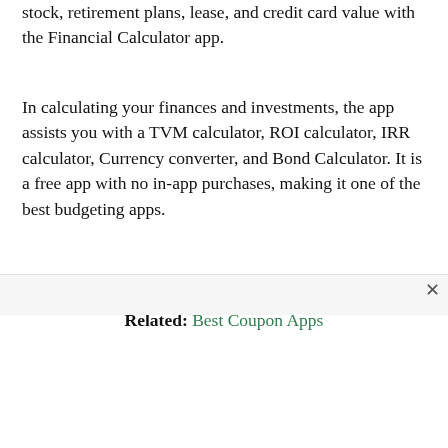stock, retirement plans, lease, and credit card value with the Financial Calculator app.
In calculating your finances and investments, the app assists you with a TVM calculator, ROI calculator, IRR calculator, Currency converter, and Bond Calculator. It is a free app with no in-app purchases, making it one of the best budgeting apps.
Related: Best Coupon Apps